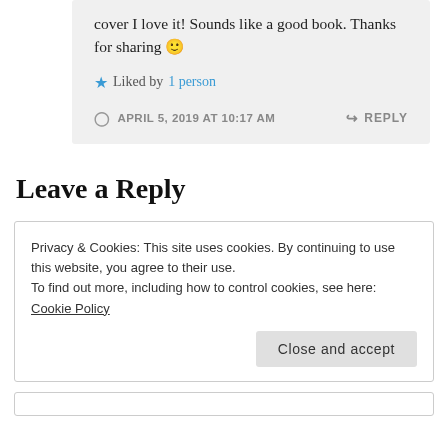cover I love it! Sounds like a good book. Thanks for sharing 🙂
★ Liked by 1 person
APRIL 5, 2019 AT 10:17 AM
↪ REPLY
Leave a Reply
Privacy & Cookies: This site uses cookies. By continuing to use this website, you agree to their use.
To find out more, including how to control cookies, see here: Cookie Policy
Close and accept